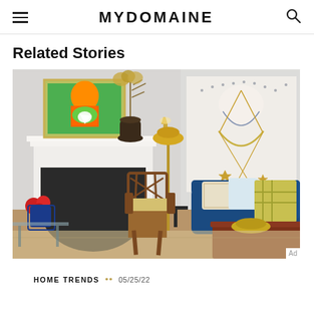MYDOMAINE
Related Stories
[Figure (photo): A stylish living room with a white fireplace, a colorful green pop-art painting above the mantle, dried floral arrangements, a wooden lattice-back chair with yellow cushion, a blue velvet sofa with patterned throw pillows, a large abstract wall art on the right, a floor lamp, a wooden coffee table with a woven bowl, and a patterned area rug.]
HOME TRENDS •• 05/25/22